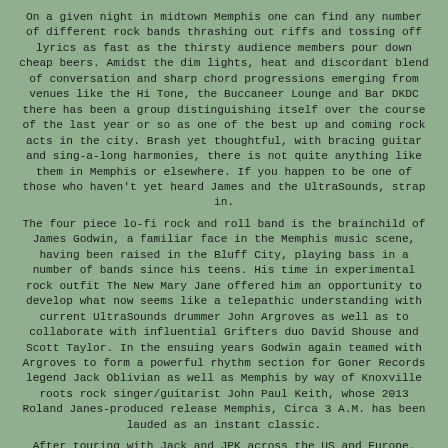On a given night in midtown Memphis one can find any number of different rock bands thrashing out riffs and tossing off lyrics as fast as the thirsty audience members pour down cheap beers. Amidst the dim lights, heat and discordant blend of conversation and sharp chord progressions emerging from venues like the Hi Tone, the Buccaneer Lounge and Bar DKDC there has been a group distinguishing itself over the course of the last year or so as one of the best up and coming rock acts in the city. Brash yet thoughtful, with bracing guitar and sing-a-long harmonies, there is not quite anything like them in Memphis or elsewhere. If you happen to be one of those who haven't yet heard James and the UltraSounds, strap in.
The four piece lo-fi rock and roll band is the brainchild of James Godwin, a familiar face in the Memphis music scene, having been raised in the Bluff City, playing bass in a number of bands since his teens. His time in experimental rock outfit The New Mary Jane offered him an opportunity to develop what now seems like a telepathic understanding with current UltraSounds drummer John Argroves as well as to collaborate with influential Grifters duo David Shouse and Scott Taylor. In the ensuing years Godwin again teamed with Argroves to form a powerful rhythm section for Goner Records legend Jack Oblivian as well as Memphis by way of Knoxville roots rock singer/guitarist John Paul Keith, whose 2013 Roland Janes-produced release Memphis, Circa 3 A.M. has been lauded as an instant classic.
After touring with Jack and JPK across the US and Europe, Godwin made time to do some songwriting of his own, and in 2012 recorded his solo debut EP, Lovers and Ghosts, playing all the instruments himself to a 4 track recorder in his room. Soon thereafter he put together a band to perform the EP material, bringing in Argroves on drums, Luke White on guitar and David Johnson on bass. The group began to play regionally and strung together a tour up the east coast to New York, returning to